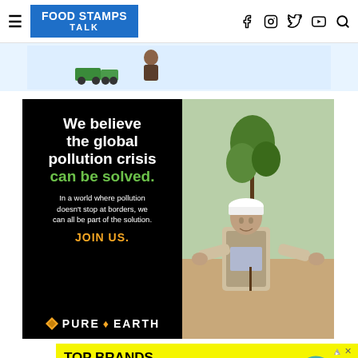FOOD STAMPS TALK
[Figure (photo): Top banner advertisement with light blue background showing small vehicle/truck graphic]
[Figure (photo): Pure Earth advertisement. Left panel black background with white text 'We believe the global pollution crisis can be solved.' in green, subtext 'In a world where pollution doesn't stop at borders, we can all be part of the solution.' and 'JOIN US.' in gold, with Pure Earth logo at bottom. Right panel shows a man in white hard hat planting a small tree/sapling.]
[Figure (photo): Zulily advertisement with yellow background. Text 'TOP BRANDS & UNIQUE FINDS' and 'Daily deals up to 70% off'. Shows images of shoes and a teal handbag. Purple banner with 'zulily' logo in bottom right.]